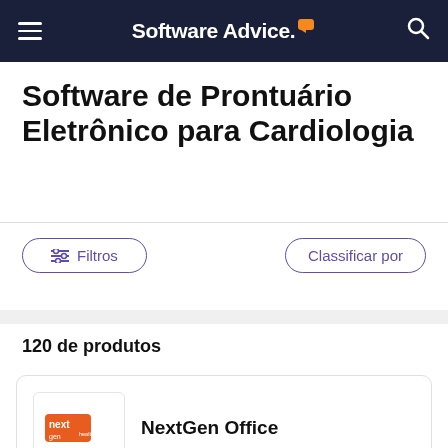Software Advice.
Software de Prontuário Eletrônico para Cardiologia
Filtros
Classificar por
120 de produtos
NextGen Office
NextGen Healthcare offers NextGen Office—a cloud-based EHR – specifically designed for private practices. NextGen Office is a fully integrated practice